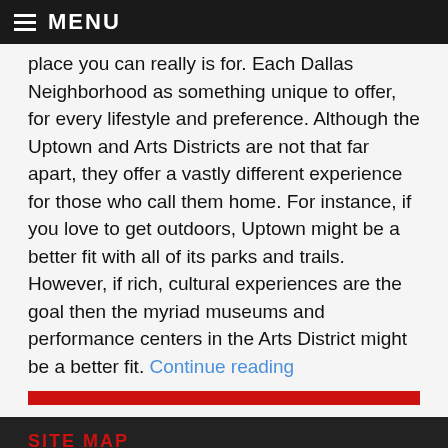MENU
place you can really is for. Each Dallas Neighborhood as something unique to offer, for every lifestyle and preference. Although the Uptown and Arts Districts are not that far apart, they offer a vastly different experience for those who call them home. For instance, if you love to get outdoors, Uptown might be a better fit with all of its parks and trails. However, if rich, cultural experiences are the goal then the myriad museums and performance centers in the Arts District might be a better fit. Continue reading
SITE MAP
HOME
ASAP APARTMENT FINDERS DALLAS
START YOUR SEARCH TODAY!
REBATE
REFERRAL